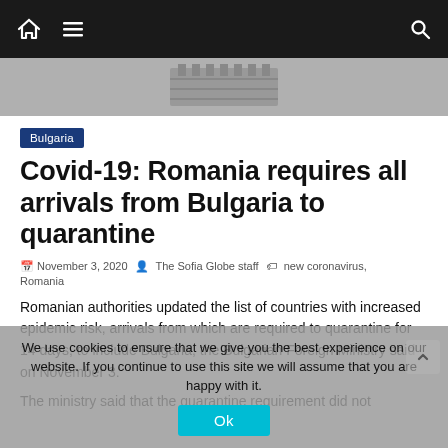Navigation bar with home, menu, and search icons
[Figure (photo): Partial view of a building/institution at the top of the article]
Bulgaria
Covid-19: Romania requires all arrivals from Bulgaria to quarantine
November 3, 2020  The Sofia Globe staff  new coronavirus, Romania
Romanian authorities updated the list of countries with increased epidemic risk, arrivals from which are required to quarantine for 14 days, to include Bulgaria, the Bulgarian Foreign Ministry said on November 3.
The ministry said that the quarantine requirement did not
We use cookies to ensure that we give you the best experience on our website. If you continue to use this site we will assume that you are happy with it. Ok